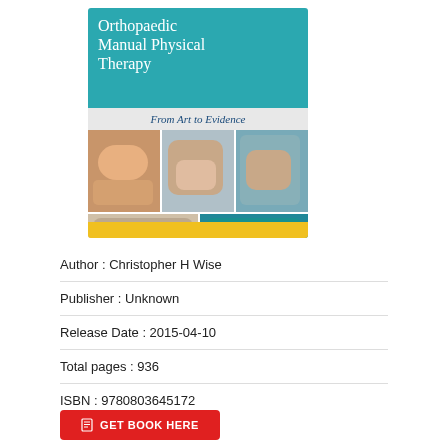[Figure (photo): Book cover of 'Orthopaedic Manual Physical Therapy: From Art to Evidence' by Christopher H Wise. Teal top with white serif title text, grey subtitle band with italic text 'From Art to Evidence', grid of six physical therapy photos in the middle, and yellow bottom strip.]
Author : Christopher H Wise
Publisher : Unknown
Release Date : 2015-04-10
Total pages : 936
ISBN : 9780803645172
GET BOOK HERE